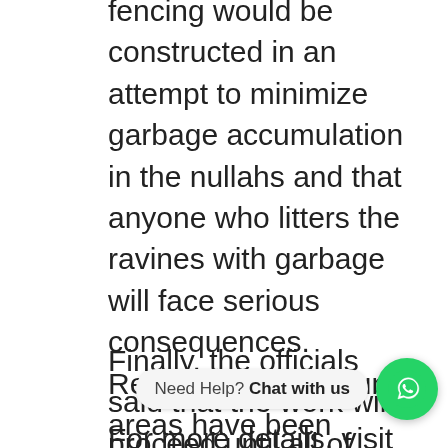fencing would be constructed in an attempt to minimize garbage accumulation in the nullahs and that anyone who litters the ravines with garbage will face serious consequences. Residents of the slum areas have been warned not to dump garbage in the nullahs, and a wetland is being built in F-11 to help manage the garbage.
Finally, the officials said that the work will proceed until all of Islamabad's nullahs have been washed
For more details, visit our website